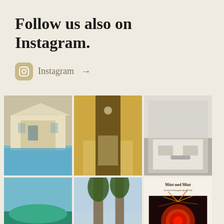Follow us also on Instagram.
Instagram →
[Figure (photo): Exterior of a large white Mediterranean-style villa with blue swimming pool in the foreground]
[Figure (photo): Hotel room interior with golden/yellow walls, curtains, and warm lighting]
[Figure (photo): Modern living room interior with white sofa, green cushions, and a car visible through large windows]
[Figure (photo): Aerial view of a lush green coastline with sandy beach and turquoise water]
[Figure (photo): Tropical beach cabana with palm trees and woven bamboo structure]
[Figure (photo): Müst und Müst magazine cover with fireworks and text 'Enjoy the 1st of August today!']